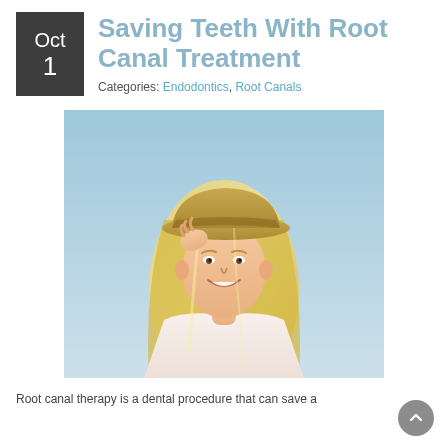Saving Teeth With Root Canal Treatment
Categories: Endodontics, Root Canals
[Figure (photo): Smiling young blonde woman wearing a straw hat, touching her hair, wearing a white top, set against a light blue sky background.]
Root canal therapy is a dental procedure that can save a